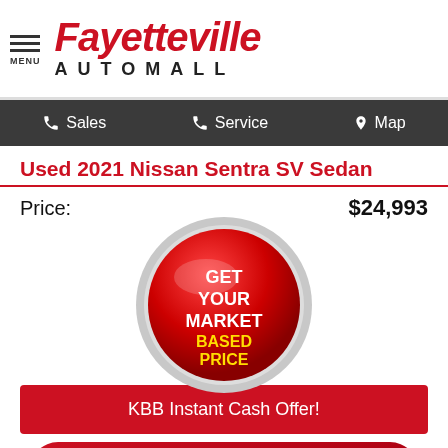[Figure (logo): Fayetteville Automall logo with menu icon]
Sales   Service   Map
Used 2021 Nissan Sentra SV Sedan
Price: $24,993
[Figure (infographic): Red circular button badge with text: GET YOUR MARKET BASED PRICE]
[Figure (infographic): Red rectangular button: KBB Instant Cash Offer!]
[Figure (infographic): Red rounded banner with checkmark: CLICK HERE Get Pre-Approved In Seconds! (R)]
[Figure (other): Blue strip at bottom of page]